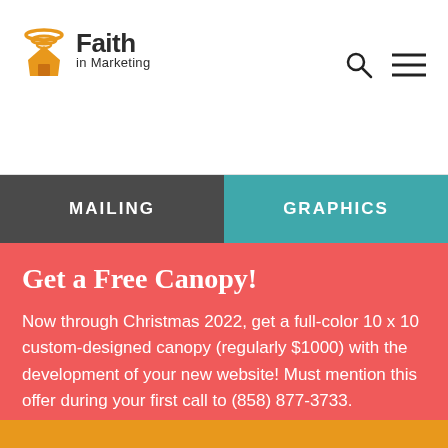[Figure (logo): Faith in Marketing logo with orange house/wifi icon and bold text]
MAILING   GRAPHICS
Get a Free Canopy!
Now through Christmas 2022, get a full-color 10 x 10 custom-designed canopy (regularly $1000) with the development of your new website! Must mention this offer during your first call to (858) 877-3733.